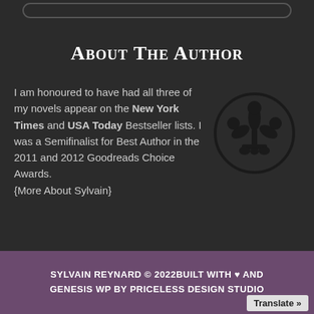About The Author
I am honoured to have had all three of my novels appear on the New York Times and USA Today Bestseller lists. I was a Semifinalist for Best Author in the 2011 and 2012 Goodreads Choice Awards. {More About Sylvain}
[Figure (logo): Black fleur-de-lis symbol inside a black circle, on dark background]
SYLVAIN REYNARD © 2022BUILT WITH ♥ AND GENESIS WP BY PRICELESS DESIGN STUDIO
Translate »